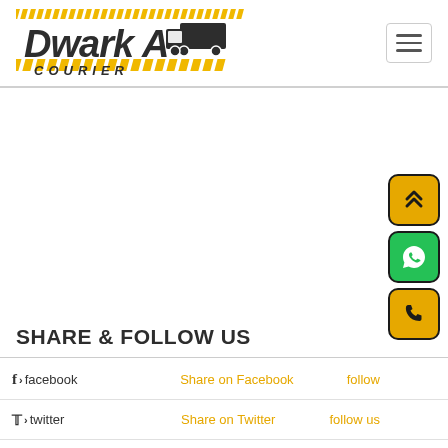[Figure (logo): Dwarka Courier logo with yellow and black truck graphic and diagonal striped elements]
[Figure (other): Hamburger menu button (three horizontal lines) in top right corner]
[Figure (other): Three floating action buttons on right side: yellow scroll-to-top button with double chevron, green WhatsApp button, yellow phone button]
SHARE & FOLLOW US
f > facebook   Share on Facebook   follow
twitter   Share on Twitter   follow us